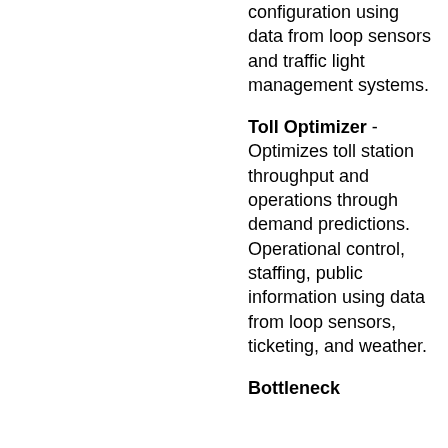configuration using data from loop sensors and traffic light management systems.
Toll Optimizer - Optimizes toll station throughput and operations through demand predictions. Operational control, staffing, public information using data from loop sensors, ticketing, and weather.
Bottleneck